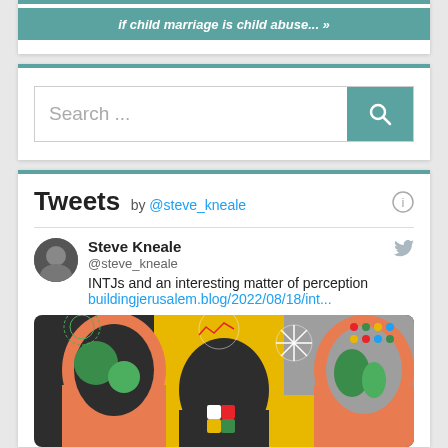[Figure (screenshot): Partial banner with italic bold white text on teal background reading 'if child marriage is child abuse...' with arrow]
[Figure (screenshot): Search bar with placeholder text 'Search ...' and teal search button with magnifying glass icon]
Tweets by @steve_kneale
Steve Kneale @steve_kneale
INTJs and an interesting matter of perception buildingjerusalem.blog/2022/08/18/int...
[Figure (illustration): Colorful illustration of human head silhouettes with gears, showing various icons and patterns inside the heads representing different types of thinking/perception]